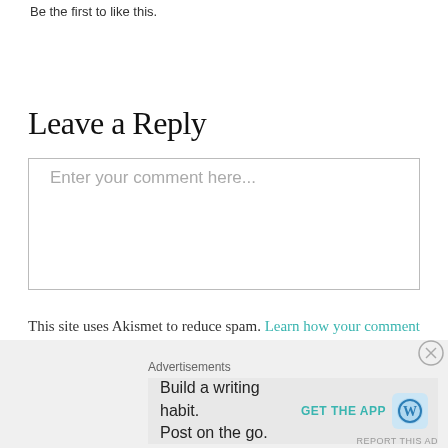Be the first to like this.
Leave a Reply
[Figure (screenshot): Comment text input box with placeholder text 'Enter your comment here...']
This site uses Akismet to reduce spam. Learn how your comment data is processed.
Advertisements
[Figure (infographic): WordPress app advertisement: 'Build a writing habit. Post on the go.' with GET THE APP button and WordPress logo]